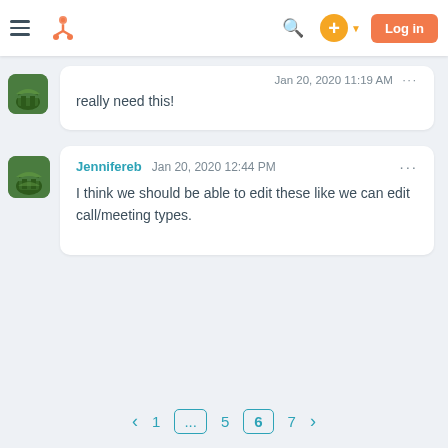[Figure (screenshot): HubSpot navigation bar with hamburger menu, HubSpot logo, search icon, plus button, and orange Log in button]
Jan 20, 2020 11:19 AM ... really need this!
Jennifereb  Jan 20, 2020 12:44 PM  ...  I think we should be able to edit these like we can edit call/meeting types.
< 1 ... 5 6 7 >